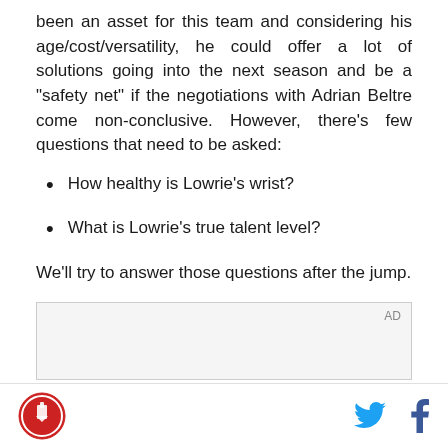been an asset for this team and considering his age/cost/versatility, he could offer a lot of solutions going into the next season and be a "safety net" if the negotiations with Adrian Beltre come non-conclusive. However, there's few questions that need to be asked:
How healthy is Lowrie's wrist?
What is Lowrie's true talent level?
We'll try to answer those questions after the jump.
[Figure (other): AD placeholder box]
Site logo on left; Twitter and Facebook icons on right